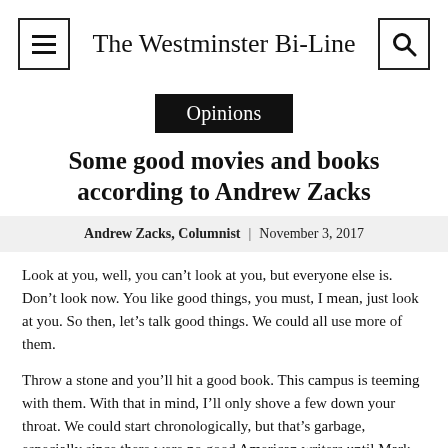The Westminster Bi-Line
Opinions
Some good movies and books according to Andrew Zacks
Andrew Zacks, Columnist | November 3, 2017
Look at you, well, you can't look at you, but everyone else is. Don't look now. You like good things, you must, I mean, just look at you. So then, let's talk good things. We could all use more of them.
Throw a stone and you'll hit a good book. This campus is teeming with them. With that in mind, I'll only shove a few down your throat. We could start chronologically, but that's garbage, especially since there were no good American writers until Mark Twain (screw you, Nathaniel